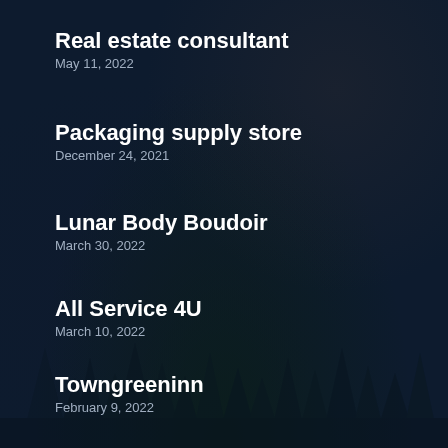Real estate consultant
May 11, 2022
Packaging supply store
December 24, 2021
Lunar Body Boudoir
March 30, 2022
All Service 4U
March 10, 2022
Towngreeninn
February 9, 2022